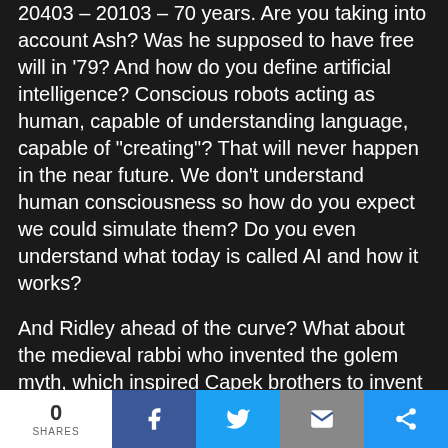20403 – 20103 – 70 years. Are you taking into account Ash? Was he supposed to have free will in '79? And how do you define artificial intelligence? Conscious robots acting as human, capable of understanding language, capable of "creating"? That will never happen in the near future. We don't understand human consciousness so how do you expect we could simulate them? Do you even understand what today is called AI and how it works?
And Ridley ahead of the curve? What about the medieval rabbi who invented the golem myth, which inspired Capek brothers to invent the robot term, who inspired Asimov, who inspired Philip K Dick, and Arthur C larke and Kubrick, and final there is also Ridley, who sincerely did not bring absolutely nothing to the table.
And if it becomes a cult movie in the future good
0 SHARES